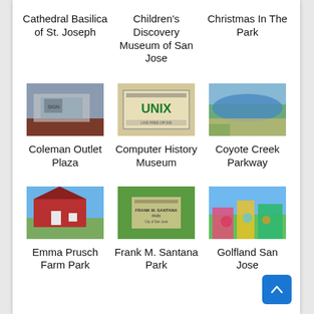Cathedral Basilica of St. Joseph
Children's Discovery Museum of San Jose
Christmas In The Park
[Figure (photo): Outdoor signage or display related to Coleman Outlet Plaza]
Coleman Outlet Plaza
[Figure (photo): Sign reading UNIX - Computer History Museum exhibit]
Computer History Museum
[Figure (photo): Scenic photo of Coyote Creek Parkway with water and dry grass]
Coyote Creek Parkway
[Figure (photo): Red barn building at Emma Prusch Farm Park]
Emma Prusch Farm Park
[Figure (photo): Sign for Frank M. Santana Park on grass]
Frank M. Santana Park
[Figure (photo): Colorful attractions at Golfland San Jose]
Golfland San Jose